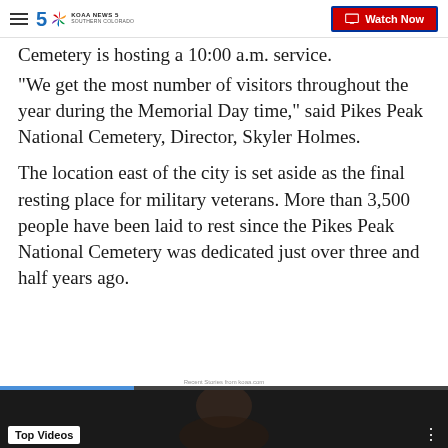KOAA News 5 Southern Colorado | Watch Now
Cemetery is hosting a 10:00 a.m. service.
“We get the most number of visitors throughout the year during the Memorial Day time,” said Pikes Peak National Cemetery, Director, Skyler Holmes.
The location east of the city is set aside as the final resting place for military veterans. More than 3,500 people have been laid to rest since the Pikes Peak National Cemetery was dedicated just over three and half years ago.
Recent Stories from koaa.com
[Figure (screenshot): Video thumbnail with progress bar showing a person, labeled 'Top Videos']